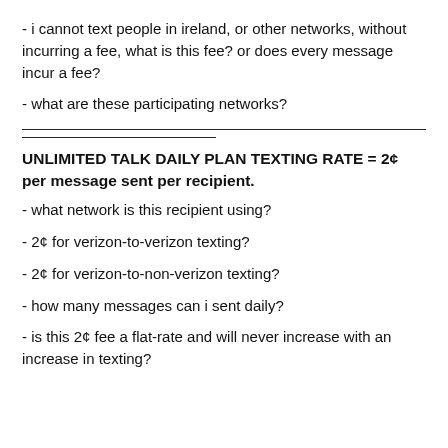- i cannot text people in ireland, or other networks, without incurring a fee, what is this fee? or does every message incur a fee?
- what are these participating networks?
UNLIMITED TALK DAILY PLAN TEXTING RATE = 2¢ per message sent per recipient.
- what network is this recipient using?
- 2¢ for verizon-to-verizon texting?
- 2¢ for verizon-to-non-verizon texting?
- how many messages can i sent daily?
- is this 2¢ fee a flat-rate and will never increase with an increase in texting?